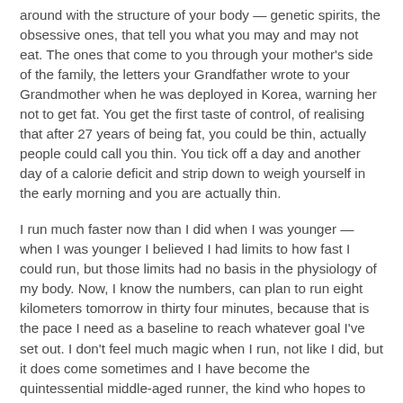around with the structure of your body — genetic spirits, the obsessive ones, that tell you what you may and may not eat. The ones that come to you through your mother's side of the family, the letters your Grandfather wrote to your Grandmother when he was deployed in Korea, warning her not to get fat. You get the first taste of control, of realising that after 27 years of being fat, you could be thin, actually people could call you thin. You tick off a day and another day of a calorie deficit and strip down to weigh yourself in the early morning and you are actually thin.
I run much faster now than I did when I was younger — when I was younger I believed I had limits to how fast I could run, but those limits had no basis in the physiology of my body. Now, I know the numbers, can plan to run eight kilometers tomorrow in thirty four minutes, because that is the pace I need as a baseline to reach whatever goal I've set out. I don't feel much magic when I run, not like I did, but it does come sometimes and I have become the quintessential middle-aged runner, the kind who hopes to feel the way I did when I was younger, when the sun came up over the mountains east of Niigata. That feeling when you're